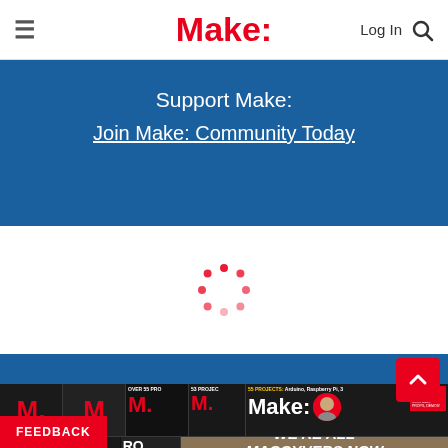≡  Make:  Log In 🔍
Support Make:
Join Make: Community Today
[Figure (other): Red circular loading spinner dots on white background]
[Figure (other): Make: magazine covers collage showing multiple issues including one with '55 PROJECTS: Arduino, Raspberry Pi...' and 'We're All MacGyvers Now' text]
FEEDBACK